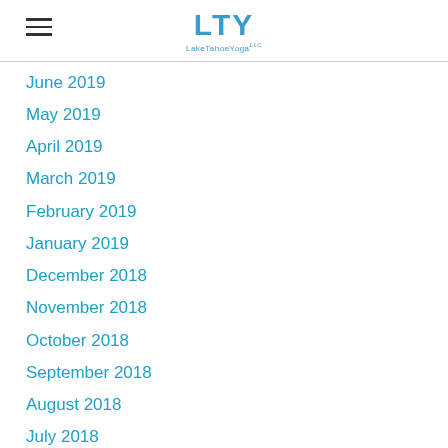LTY Lake Tahoe Yoga
June 2019
May 2019
April 2019
March 2019
February 2019
January 2019
December 2018
November 2018
October 2018
September 2018
August 2018
July 2018
June 2018
May 2018
April 2018
March 2018
February 2018